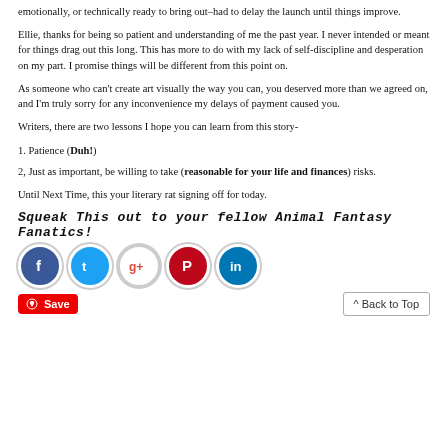emotionally, or technically ready to bring out–had to delay the launch until things improve.
Ellie, thanks for being so patient and understanding of me the past year. I never intended or meant for things drag out this long. This has more to do with my lack of self-discipline and desperation on my part. I promise things will be different from this point on.
As someone who can't create art visually the way you can, you deserved more than we agreed on, and I'm truly sorry for any inconvenience my delays of payment caused you.
Writers, there are two lessons I hope you can learn from this story-
1. Patience (Duh!)
2, Just as important, be willing to take (reasonable for your life and finances) risks.
Until Next Time, this your literary rat signing off for today.
Squeak This out to your fellow Animal Fantasy Fanatics!
[Figure (infographic): Social sharing icons: Facebook, Twitter, Google+, Pinterest, LinkedIn]
Save | ^ Back to Top